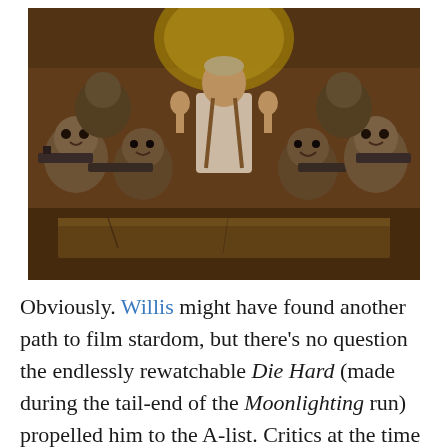[Figure (photo): A man in a white shirt with hands raised surrounded by multiple alien/creature figures holding weapons, in a sci-fi setting]
Obviously. Willis might have found another path to film stardom, but there's no question the endlessly rewatchable Die Hard (made during the tail-end of the Moonlighting run) propelled him to the A-list. Critics at the time were split on both Die Hard's virtues and Willis' performance, but audiences never had a doubt. Though the first is undoubtedly